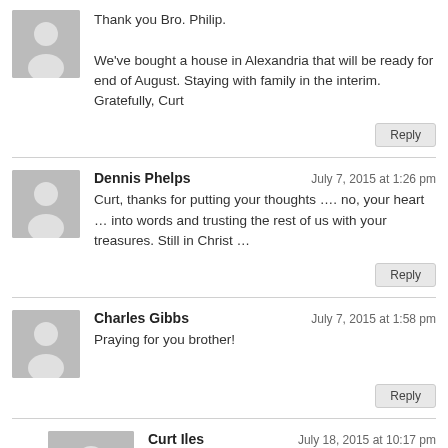Thank you Bro. Philip.

We've bought a house in Alexandria that will be ready for end of August. Staying with family in the interim. Gratefully, Curt
Reply
Dennis Phelps — July 7, 2015 at 1:26 pm
Curt, thanks for putting your thoughts .... no, your heart ... into words and trusting the rest of us with your treasures. Still in Christ ...
Reply
Charles Gibbs — July 7, 2015 at 1:58 pm
Praying for you brother!
Reply
Curt Iles — July 18, 2015 at 10:17 pm
Thanks Charles.
Reply